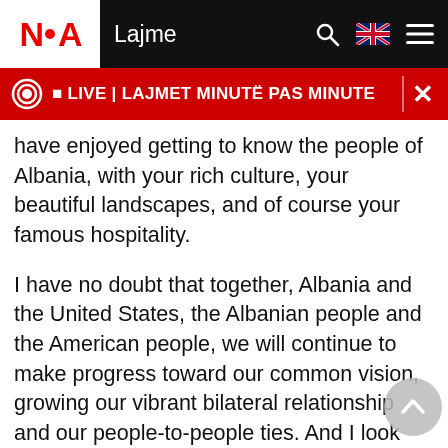NOA | Lajme
🔴 LIVE | LAJMET MINUTË PAS MINUTE
have enjoyed getting to know the people of Albania, with your rich culture, your beautiful landscapes, and of course your famous hospitality.
I have no doubt that together, Albania and the United States, the Albanian people and the American people, we will continue to make progress toward our common vision, growing our vibrant bilateral relationship and our people-to-people ties. And I look forward to seeing what we can achieve together in the next 30 years. Gëzuar. Thank you very much for the celebration!" said the American